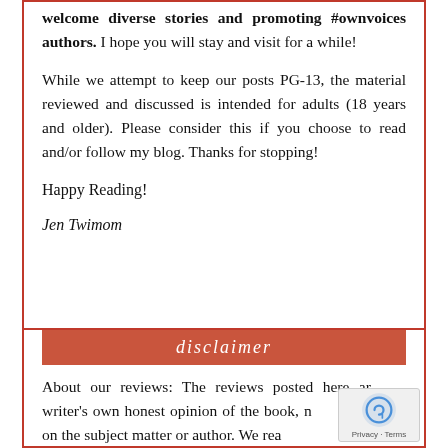welcome diverse stories and promoting #ownvoices authors. I hope you will stay and visit for a while!
While we attempt to keep our posts PG-13, the material reviewed and discussed is intended for adults (18 years and older). Please consider this if you choose to read and/or follow my blog. Thanks for stopping!
Happy Reading!
Jen Twimom
disclaimer
About our reviews: The reviews posted here are the writer's own honest opinion of the book, not a judgement on the subject matter or author. We read for...